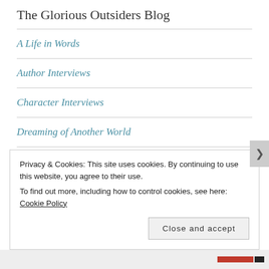The Glorious Outsiders Blog
A Life in Words
Author Interviews
Character Interviews
Dreaming of Another World
Family
Guest posts
Privacy & Cookies: This site uses cookies. By continuing to use this website, you agree to their use. To find out more, including how to control cookies, see here: Cookie Policy
Close and accept